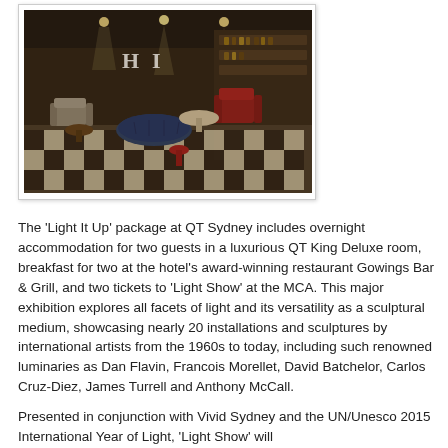[Figure (photo): Interior photo of a stylish hotel lounge/bar area with dark ambient lighting, checkered floor, velvet ottomans, eclectic furniture including red armchairs, and bar shelving in the background. The scene has a moody, upscale aesthetic.]
The 'Light It Up' package at QT Sydney includes overnight accommodation for two guests in a luxurious QT King Deluxe room, breakfast for two at the hotel's award-winning restaurant Gowings Bar & Grill, and two tickets to 'Light Show' at the MCA. This major exhibition explores all facets of light and its versatility as a sculptural medium, showcasing nearly 20 installations and sculptures by international artists from the 1960s to today, including such renowned luminaries as Dan Flavin, Francois Morellet, David Batchelor, Carlos Cruz-Diez, James Turrell and Anthony McCall.
Presented in conjunction with Vivid Sydney and the UN/Unesco 2015 International Year of Light, 'Light Show' will